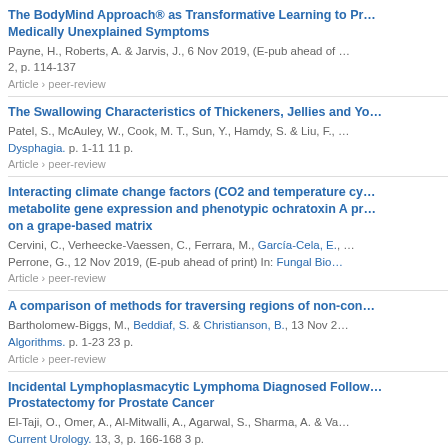The BodyMind Approach® as Transformative Learning to Promote Resilience in People with Medically Unexplained Symptoms
Payne, H., Roberts, A. & Jarvis, J., 6 Nov 2019, (E-pub ahead of print) In: ... 2, p. 114-137
Article › peer-review
The Swallowing Characteristics of Thickeners, Jellies and Yo...
Patel, S., McAuley, W., Cook, M. T., Sun, Y., Hamdy, S. & Liu, F., ... Dysphagia. p. 1-11 11 p.
Article › peer-review
Interacting climate change factors (CO2 and temperature cyc...) metabolite gene expression and phenotypic ochratoxin A pr... on a grape-based matrix
Cervini, C., Verheecke-Vaessen, C., Ferrara, M., García-Cela, E., ... Perrone, G., 12 Nov 2019, (E-pub ahead of print) In: Fungal Biol...
Article › peer-review
A comparison of methods for traversing regions of non-conv...
Bartholomew-Biggs, M., Beddiaf, S. & Christianson, B., 13 Nov 2... Algorithms. p. 1-23 23 p.
Article › peer-review
Incidental Lymphoplasmacytic Lymphoma Diagnosed Follow... Prostatectomy for Prostate Cancer
El-Taji, O., Omer, A., Al-Mitwalli, A., Agarwal, S., Sharma, A. & Va... Current Urology. 13, 3, p. 166-168 3 p.
Article › peer-review
Estimating the Prevalence of Muscle Wasting, Weakness, an...
Slee, A., McKeaveney, C., Adamson, G., Davenport, A., Farringto... Maxwell, A. P., Mullan, R., Noble, H., O'Donoghue, D., Porter, S., ... 14 Nov 2019, (E-pub ahead of print) In: Journal of Renal Nutritio...
Article › peer-review
The influence of diffusion cell type and experimental temp...